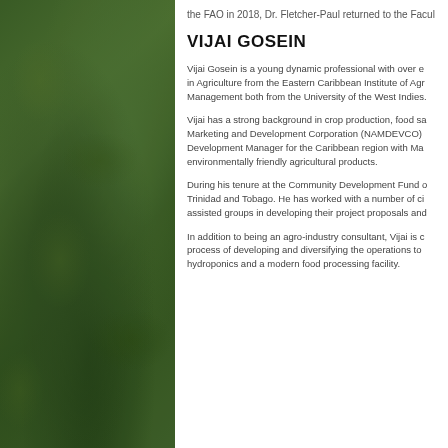[Figure (photo): Green leafy vegetation/plant background on left panel]
the FAO in 2018, Dr. Fletcher-Paul returned to the Facul...
VIJAI GOSEIN
Vijai Gosein is a young dynamic professional with over e... in Agriculture from the Eastern Caribbean Institute of Agr... Management both from the University of the West Indies...
Vijai has a strong background in crop production, food sa... Marketing and Development Corporation (NAMDEVCO)... Development Manager for the Caribbean region with Ma... environmentally friendly agricultural products.
During his tenure at the Community Development Fund c... Trinidad and Tobago. He has worked with a number of ci... assisted groups in developing their project proposals and...
In addition to being an agro-industry consultant, Vijai is c... process of developing and diversifying the operations to... hydroponics and a modern food processing facility.